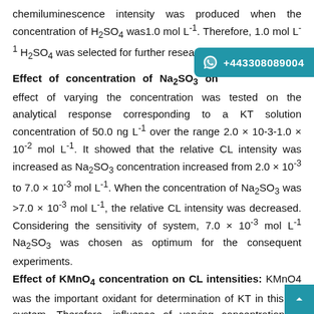chemiluminescence intensity was produced when the concentration of H2SO4 was1.0 mol L-1. Therefore, 1.0 mol L-1 H2SO4 was selected for further research.
Effect of concentration of Na2SO3 on
effect of varying the concentration was tested on the analytical response corresponding to a KT solution concentration of 50.0 ng L-1 over the range 2.0 × 10-3-1.0 × 10-2 mol L-1. It showed that the relative CL intensity was increased as Na2SO3 concentration increased from 2.0 × 10-3 to 7.0 × 10-3 mol L-1. When the concentration of Na2SO3 was >7.0 × 10-3 mol L-1, the relative CL intensity was decreased. Considering the sensitivity of system, 7.0 × 10-3 mol L-1 Na2SO3 was chosen as optimum for the consequent experiments.
Effect of KMnO4 concentration on CL intensities:
KMnO4 was the important oxidant for determination of KT in this CL system. Therefore, influence of varying concentration of KMnO4 between 1.0 × 10-3 and 2.0 × 10-3 mol L-1 was examined. The result showed that the ratio of signal and noise (S/N) increased with the increasing of KMnO4 concentration. When the concentration of KMnO4 was